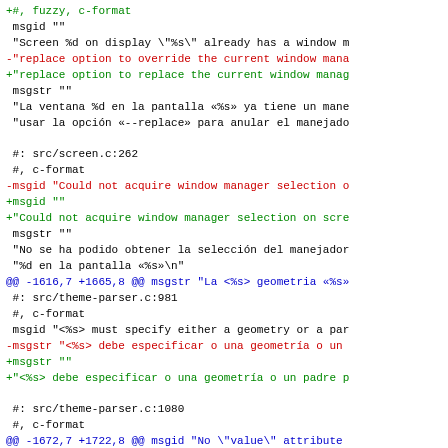+#, fuzzy, c-format
 msgid ""
 "Screen %d on display \"%s\" already has a window m
-"replace option to override the current window mana
+"replace option to replace the current window manag
 msgstr ""
 "La ventana %d en la pantalla «%s» ya tiene un mane
 "usar la opción «--replace» para anular el manejado

 #: src/screen.c:262
 #, c-format
-msgid "Could not acquire window manager selection o
+msgid ""
+"Could not acquire window manager selection on scre
 msgstr ""
 "No se ha podido obtener la selección del manejador
 "%d en la pantalla «%s»\n"
@@ -1616,7 +1665,8 @@ msgstr "La <%s> geometria «%s»
 #: src/theme-parser.c:981
 #, c-format
 msgid "<%s> must specify either a geometry or a par
-msgstr "<%s> debe especificar o una geometría o un
+msgstr ""
+"<%s> debe especificar o una geometría o un padre p

 #: src/theme-parser.c:1080
 #, c-format
@@ -1672,7 +1722,8 @@ msgid "No \"value\" attribute
 msgstr "No hay atributo «value» en el elemento <%s>